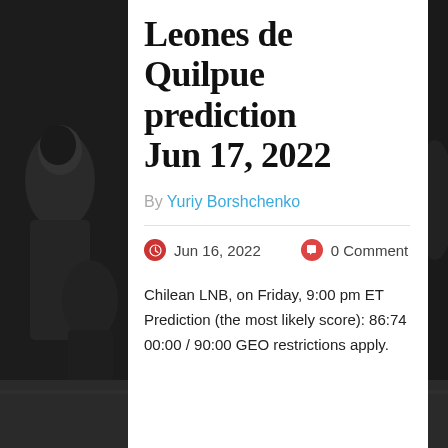Leones de Quilpue prediction Jun 17, 2022
By Yuriy Borshchenko
Jun 16, 2022   0 Comment
Chilean LNB, on Friday, 9:00 pm ET
Prediction (the most likely score): 86:74
00:00 / 90:00 GEO restrictions apply.